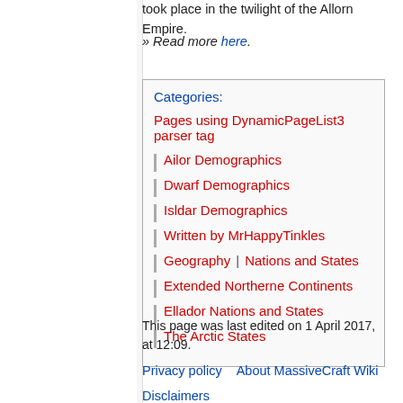took place in the twilight of the Allorn Empire.
» Read more here.
Categories: Pages using DynamicPageList3 parser tag | Ailor Demographics | Dwarf Demographics | Isldar Demographics | Written by MrHappyTinkles | Geography | Nations and States | Extended Northerne Continents | Ellador Nations and States | The Arctic States
This page was last edited on 1 April 2017, at 12:09.
Privacy policy   About MassiveCraft Wiki
Disclaimers